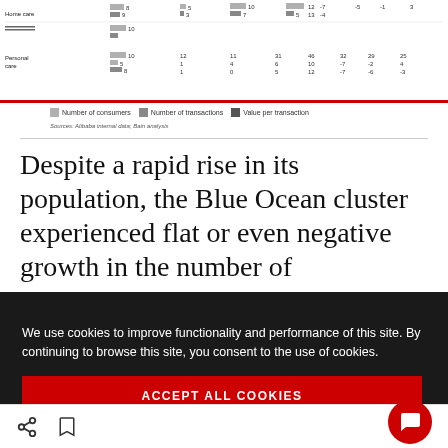[Figure (other): Partial bar chart showing Home care and Personal care rows with columns for Number of consumers, Number of transactions, and Value per transaction. Values visible include numbers like 8, 9, 5, 3, 10, 7, 8, 5, 5, 10, 5, 8, 12, 1, 1, 0, 11, 4, 4, 31, 6, 5, 46, 10, 12, 32, -7, -7, 29, -2, -6, 25, 4, -3, and other partial values. A red horizontal bar appears at the bottom.]
Number of consumers   Number of transactions   Value per transaction
Sources: Alibaba internal data; Bain analysis
Despite a rapid rise in its population, the Blue Ocean cluster experienced flat or even negative growth in the number of transactions and value per transaction, depending on the category,
We use cookies to improve functionality and performance of this site. By continuing to browse this site, you consent to the use of cookies.
ACCEPT ALL COOKIES